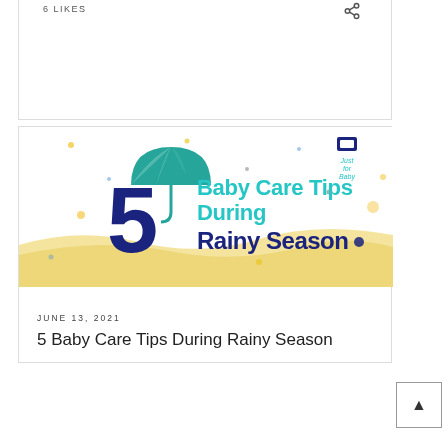6 LIKES
[Figure (infographic): Infographic banner with teal umbrella, large dark blue number 5, teal text 'Baby Care Tips During' and dark blue bold text 'Rainy Season', yellow wave decoration at bottom, scattered dots, and 'Just for Baby' logo in top right corner. White background.]
JUNE 13, 2021
5 Baby Care Tips During Rainy Season